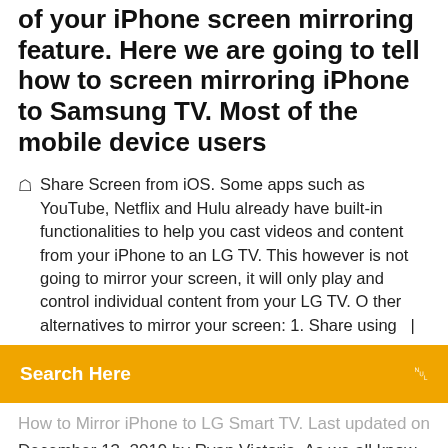of your iPhone screen mirroring feature. Here we are going to tell how to screen mirroring iPhone to Samsung TV. Most of the mobile device users
Share Screen from iOS. Some apps such as YouTube, Netflix and Hulu already have built-in functionalities to help you cast videos and content from your iPhone to an LG TV. This however is not going to mirror your screen, it will only play and control individual content from your LG TV. O ther alternatives to mirror your screen: 1. Share using   |
[Figure (screenshot): Orange search bar with 'Search Here' text and a search icon on the right]
How to Mirror iPhone to LG Smart TV. Last updated on December 13, 2019 by Ryan Victoria. As we all know, iPhone is one of the hottest and famous smart phones that we have these days. But in spite of its cool attributes, its screen is still not that big to share some of its content with your family or friends. Fortunately, if you have a smart TV just like LG TV then you can still do some tricks
How to mirror iPhone to LG Smart TV: How To...